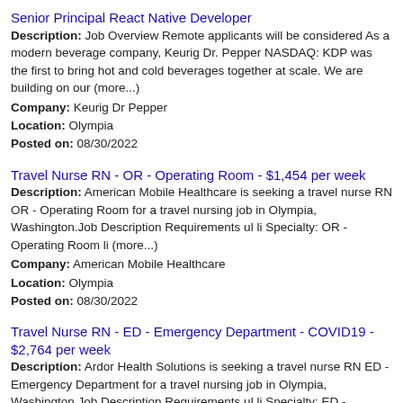Senior Principal React Native Developer
Description: Job Overview Remote applicants will be considered As a modern beverage company, Keurig Dr. Pepper NASDAQ: KDP was the first to bring hot and cold beverages together at scale. We are building on our (more...) Company: Keurig Dr Pepper Location: Olympia Posted on: 08/30/2022
Travel Nurse RN - OR - Operating Room - $1,454 per week
Description: American Mobile Healthcare is seeking a travel nurse RN OR - Operating Room for a travel nursing job in Olympia, Washington.Job Description Requirements ul li Specialty: OR - Operating Room li (more...) Company: American Mobile Healthcare Location: Olympia Posted on: 08/30/2022
Travel Nurse RN - ED - Emergency Department - COVID19 - $2,764 per week
Description: Ardor Health Solutions is seeking a travel nurse RN ED - Emergency Department for a travel nursing job in Olympia, Washington.Job Description Requirements ul li Specialty: ED - Emergency Department (more...)